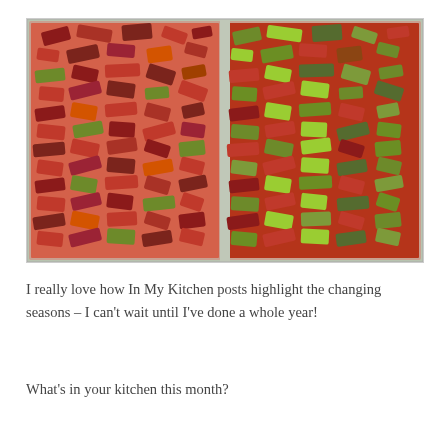[Figure (photo): Two glass baking dishes side by side filled with chopped rhubarb pieces. The left dish contains predominantly deep red/crimson rhubarb pieces, while the right dish contains a mix of greener and red rhubarb pieces, both appearing roasted or prepared for roasting.]
I really love how In My Kitchen posts highlight the changing seasons – I can't wait until I've done a whole year!
What's in your kitchen this month?